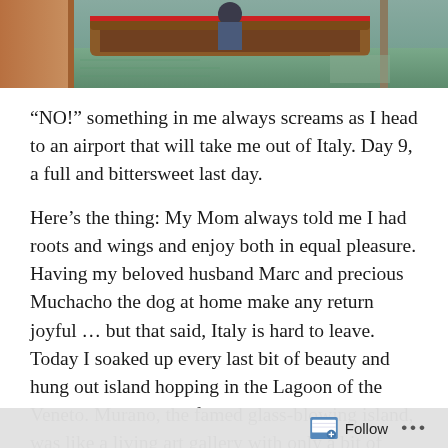[Figure (photo): Top portion of a photo showing a gondola or wooden boat at a dock on a green lagoon, with an orange/terracotta dock wall on the left side.]
“NO!” something in me always screams as I head to an airport that will take me out of Italy. Day 9, a full and bittersweet last day.
Here’s the thing: My Mom always told me I had roots and wings and enjoy both in equal pleasure. Having my beloved husband Marc and precious Muchacho the dog at home make any return joyful … but that said, Italy is hard to leave. Today I soaked up every last bit of beauty and hung out island hopping in the Lagoon of the Veneto. Murano, the famed glass-blowing island, was like a living art gallery with only a bit of “made in China tourist flash” thrown in. So, for the most part, truly inspiring and
Follow …